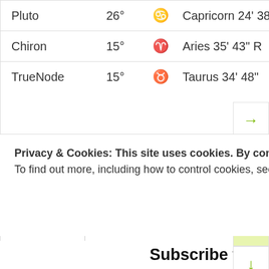| Body | Degree | Symbol | Sign Details |
| --- | --- | --- | --- |
| Pluto | 26° | ♑ | Capricorn 24' 38" R |
| Chiron | 15° | ♈ | Aries 35' 43" R |
| TrueNode | 15° | ♉ | Taurus 34' 48" |
Categories
Select Category
Privacy & Cookies: This site uses cookies. By continuing to use this website, you agree to their use.
To find out more, including how to control cookies, see here: Cookie Policy
Close and accept
Subscribe to Daily Posts via